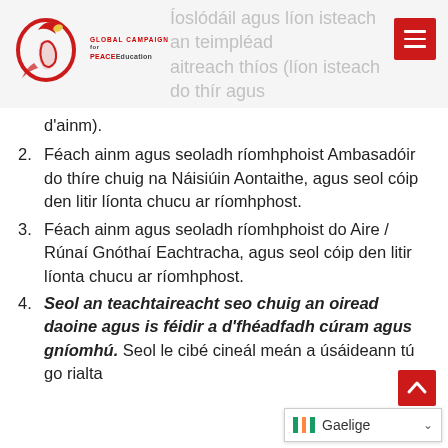Íoslódáil agus líon isteach an teimpléad aitreach thíos (líon isteach do thír agus d'ainm).
d'ainm).
2. Féach ainm agus seoladh ríomhphoist Ambasadóir do thíre chuig na Náisiúin Aontaithe, agus seol cóip den litir líonta chucu ar ríomhphost.
3. Féach ainm agus seoladh ríomhphoist do Aire / Rúnaí Gnóthaí Eachtracha, agus seol cóip den litir líonta chucu ar ríomhphost.
4. Seol an teachtaireacht seo chuig an oiread daoine agus is féidir a d'fhéadfadh cúram agus gníomhú. Seol le cibé cineál meán a úsáideann tú go rialta